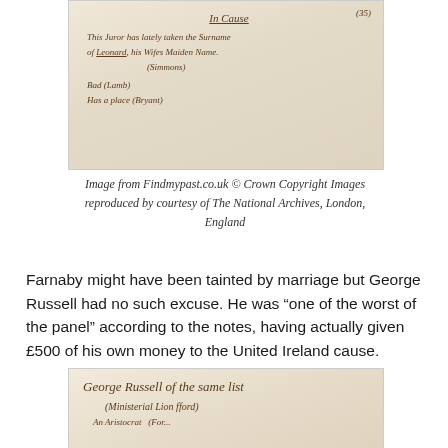[Figure (photo): Handwritten historical document excerpt showing cursive text including 'In Cause', a line about taking the surname of 'Leonard', his wife's maiden name '(Simmons)', 'Bad (Lamb)', and 'Has a place (Bryant)']
Image from Findmypast.co.uk © Crown Copyright Images reproduced by courtesy of The National Archives, London, England
Farnaby might have been tainted by marriage but George Russell had no such excuse. He was “one of the worst of the panel” according to the notes, having actually given £500 of his own money to the United Ireland cause.
[Figure (photo): Handwritten historical document excerpt showing cursive text 'George Russell of the same list', '(Ministerial Lion fford)', 'An Aristocrat (Ford...)]